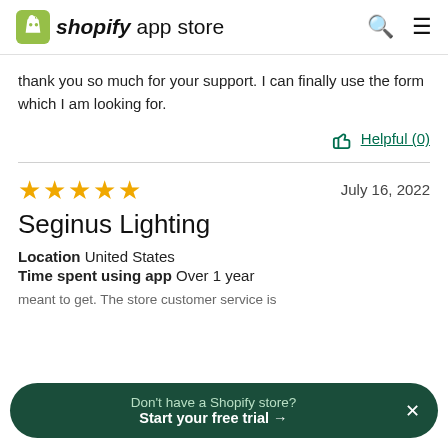shopify app store
thank you so much for your support. I can finally use the form which I am looking for.
Helpful (0)
Seginus Lighting
July 16, 2022
Location  United States
Time spent using app  Over 1 year
Don't have a Shopify store? Start your free trial →